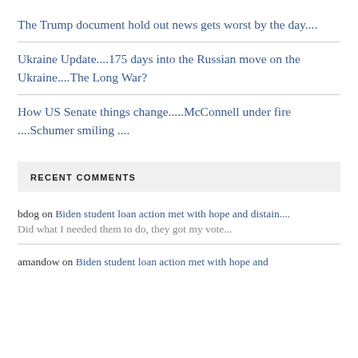The Trump document hold out news gets worst by the day....
Ukraine Update....175 days into the Russian move on the Ukraine....The Long War?
How US Senate things change.....McConnell under fire ....Schumer smiling ....
RECENT COMMENTS
bdog on Biden student loan action met with hope and distain....
Did what I needed them to do, they got my vote...
amandow on Biden student loan action met with hope and